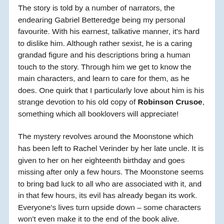The story is told by a number of narrators, the endearing Gabriel Betteredge being my personal favourite. With his earnest, talkative manner, it's hard to dislike him. Although rather sexist, he is a caring grandad figure and his descriptions bring a human touch to the story. Through him we get to know the main characters, and learn to care for them, as he does. One quirk that I particularly love about him is his strange devotion to his old copy of Robinson Crusoe, something which all booklovers will appreciate!
The mystery revolves around the Moonstone which has been left to Rachel Verinder by her late uncle. It is given to her on her eighteenth birthday and goes missing after only a few hours. The Moonstone seems to bring bad luck to all who are associated with it, and in that few hours, its evil has already began its work. Everyone's lives turn upside down – some characters won't even make it to the end of the book alive.
In desperation, a renowned detective from London is called for. The chapters that follow are some of my favourites in the book. Sergeant Cuff brings some humour to the pages, especially when arguing with the gardener about the proper